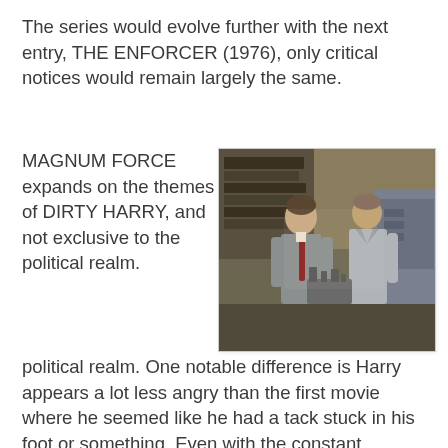The series would evolve further with the next entry, THE ENFORCER (1976), only critical notices would remain largely the same.
MAGNUM FORCE expands on the themes of DIRTY HARRY, and not exclusive to the political realm. One notable difference is Harry appears a lot less angry than the first movie where he seemed like he had a tack stuck in his foot or something. Even with the constant belittlement from Lt. Briggs (Hal Holbrook), Harry keeps his cool. These scenes with the Lieutenant are some of the best bits in the film.
[Figure (photo): A film still showing two men in a room with shelves and equipment. One man in a suit with a tie examines something, another man in a grey suit stands nearby.]